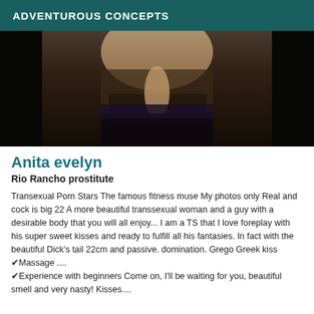ADVENTUROUS CONCEPTS
[Figure (photo): Adult content photo of a person in black lingerie against a dark background]
Anita evelyn
Rio Rancho prostitute
Transexual Porn Stars The famous fitness muse My photos only Real and cock is big 22 A more beautiful transsexual woman and a guy with a desirable body that you will all enjoy... I am a TS that I love foreplay with his super sweet kisses and ready to fulfill all his fantasies. In fact with the beautiful Dick's tail 22cm and passive. domination. Grego Greek kiss ✔Massage .... ✔Experience with beginners Come on, I'll be waiting for you, beautiful smell and very nasty! Kisses....